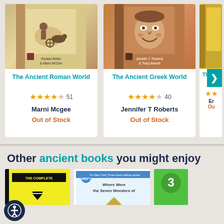[Figure (screenshot): Book card for 'The Ancient Roman World' with book cover showing Roman chariot scene, 4 out of 5 stars (51 reviews), author Marni Mcgee, Out of Stock]
The Ancient Roman World
51
Marni Mcgee
Out of Stock
[Figure (screenshot): Book card for 'The Ancient Greek World' with book cover showing Greek mask/face sculpture, 4 out of 5 stars (40 reviews), author Jennifer T Roberts, Out of Stock]
The Ancient Greek World
40
Jennifer T Roberts
Out of Stock
[Figure (screenshot): Partial third book card partially visible on right edge with navigation arrow]
Other ancient books you might enjoy
[Figure (screenshot): Bottom row of three partially visible book covers]
[Figure (screenshot): Accessibility button icon (person with circle)]